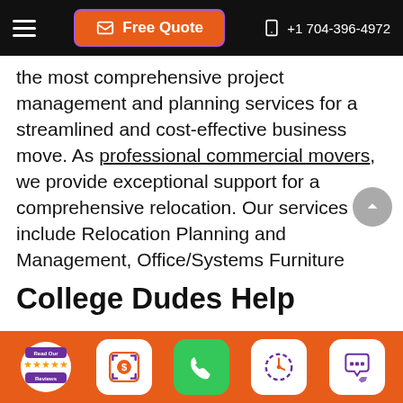Free Quote | +1 704-396-4972
the most comprehensive project management and planning services for a streamlined and cost-effective business move. As professional commercial movers, we provide exceptional support for a comprehensive relocation. Our services include Relocation Planning and Management, Office/Systems Furniture Planning and Management, and Structured Cabling Design and Management. Call for more information.
College Dudes Help
[Figure (infographic): Bottom orange toolbar with review badge, cost estimator icon, phone icon, schedule icon, and chat icon]